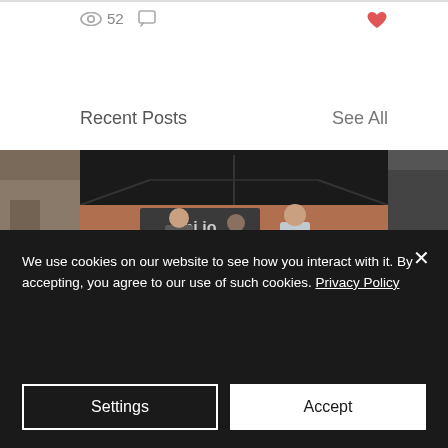52 views, 0 comments
Recent Posts
See All
[Figure (photo): Partial left photo clipped]
[Figure (photo): hi.io branded outdoor market stall with black canopy, two people standing behind table with products, brick wall background]
[Figure (photo): Partial right photo clipped]
We use cookies on our website to see how you interact with it. By accepting, you agree to our use of such cookies. Privacy Policy
Settings
Accept